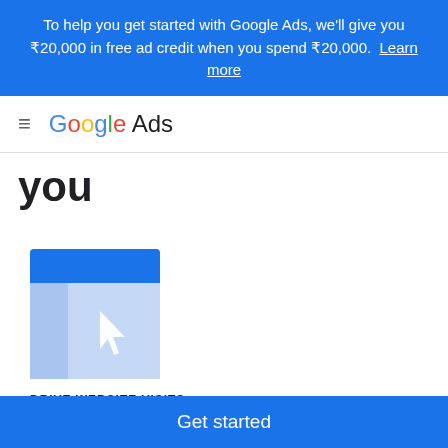To help you get started with Google Ads, we'll give you ₹20,000 in free ad credit when you spend ₹20,000. Learn more
Google Ads
you
[Figure (illustration): Blue rectangle icon representing a website with a cursor/pointer arrow, illustrating 'Drive Website Visits' campaign type]
DRIVE WEBSITE VISITS
Get started